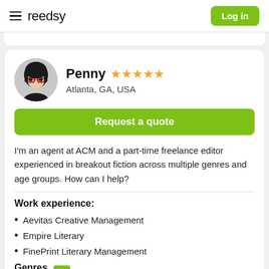reedsy   Log in
[Figure (photo): Profile photo of Penny, a woman with black hair and glasses, circular crop]
Penny ★★★★★
Atlanta, GA, USA
Request a quote
I'm an agent at ACM and a part-time freelance editor experienced in breakout fiction across multiple genres and age groups. How can I help?
Work experience:
Aevitas Creative Management
Empire Literary
FinePrint Literary Management
Genres